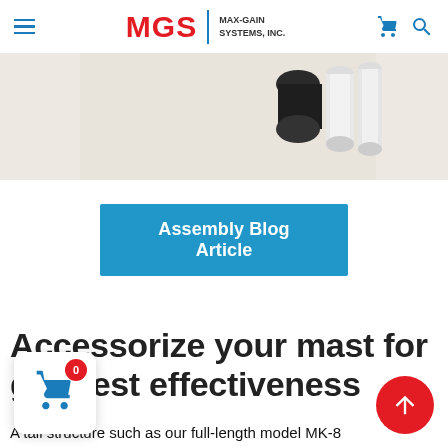MGS MAX-GAIN SYSTEMS, INC.
[Figure (photo): Partial product photo showing antenna mast components including a dark cylindrical part and white PVC pipe on a beige surface]
Assembly Blog Article
Accessorize your mast for greatest effectiveness
A tall structure such as our full-length model MK-8